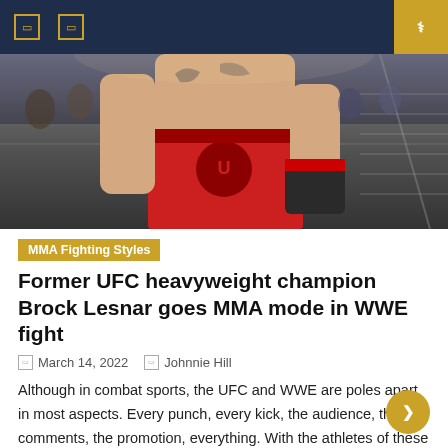Navigation bar with menu icons
[Figure (photo): UFC fighter Brock Lesnar in red shorts, shirtless, in the octagon with crowd in background]
MMA Fighting Styles
Former UFC heavyweight champion Brock Lesnar goes MMA mode in WWE fight
March 14, 2022   Johnnie Hill
Although in combat sports, the UFC and WWE are poles apart in most aspects. Every punch, every kick, the audience, the comments, the promotion, everything. With the athletes of these two promotions knowing their jobs exclusively, it sometimes seems like things are going wrong. And on Brock Lesnar seemed to have switched modes during a [...]